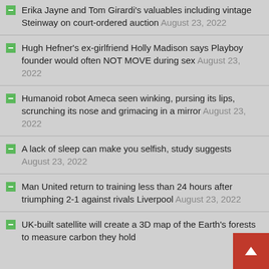Erika Jayne and Tom Girardi's valuables including vintage Steinway on court-ordered auction August 23, 2022
Hugh Hefner's ex-girlfriend Holly Madison says Playboy founder would often NOT MOVE during sex August 23, 2022
Humanoid robot Ameca seen winking, pursing its lips, scrunching its nose and grimacing in a mirror August 23, 2022
A lack of sleep can make you selfish, study suggests August 23, 2022
Man United return to training less than 24 hours after triumphing 2-1 against rivals Liverpool August 23, 2022
UK-built satellite will create a 3D map of the Earth's forests to measure carbon they hold